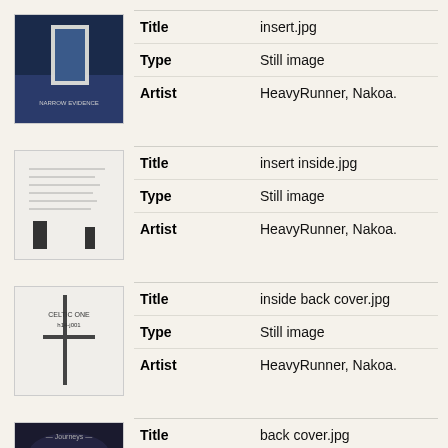| Thumbnail | Field | Value |
| --- | --- | --- |
| [image] | Title | insert.jpg |
|  | Type | Still image |
|  | Artist | HeavyRunner, Nakoa. |
| Thumbnail | Field | Value |
| --- | --- | --- |
| [image] | Title | insert inside.jpg |
|  | Type | Still image |
|  | Artist | HeavyRunner, Nakoa. |
| Thumbnail | Field | Value |
| --- | --- | --- |
| [image] | Title | inside back cover.jpg |
|  | Type | Still image |
|  | Artist | HeavyRunner, Nakoa. |
| Thumbnail | Field | Value |
| --- | --- | --- |
| [image] | Title | back cover.jpg |